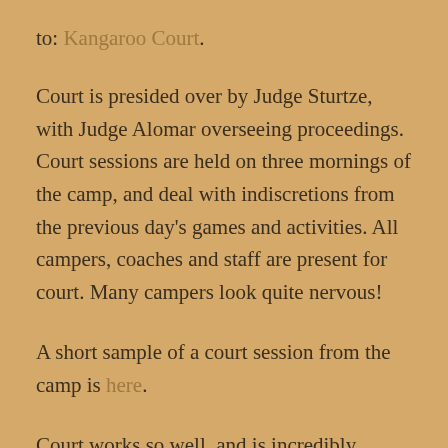to: Kangaroo Court.
Court is presided over by Judge Sturtze, with Judge Alomar overseeing proceedings. Court sessions are held on three mornings of the camp, and deal with indiscretions from the previous day's games and activities. All campers, coaches and staff are present for court. Many campers look quite nervous!
A short sample of a court session from the camp is here.
Court works so well, and is incredibly